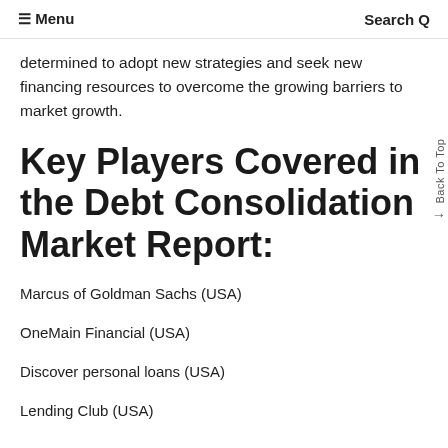≡ Menu   Search Q
determined to adopt new strategies and seek new financing resources to overcome the growing barriers to market growth.
Key Players Covered in the Debt Consolidation Market Report:
Marcus of Goldman Sachs (USA)
OneMain Financial (USA)
Discover personal loans (USA)
Lending Club (USA)